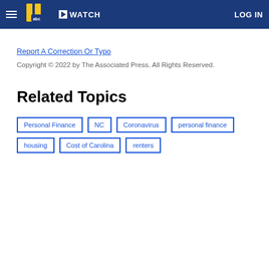WATCH | LOG IN
Report A Correction Or Typo
Copyright © 2022 by The Associated Press. All Rights Reserved.
Related Topics
Personal Finance
NC
Coronavirus
personal finance
housing
Cost of Carolina
renters